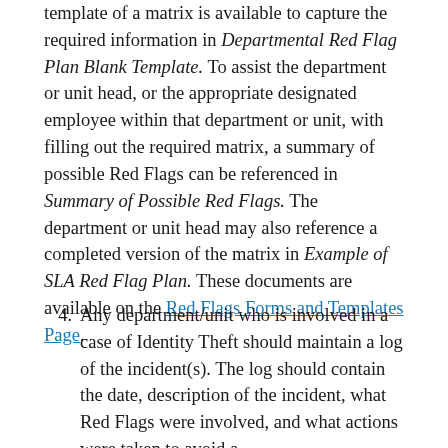template of a matrix is available to capture the required information in Departmental Red Flag Plan Blank Template. To assist the department or unit head, or the appropriate designated employee within that department or unit, with filling out the required matrix, a summary of possible Red Flags can be referenced in Summary of Possible Red Flags. The department or unit head may also reference a completed version of the matrix in Example of SLA Red Flag Plan. These documents are available on the Red Flags Forms and Templates Page.
4. Any department/unit who is involved in a case of Identity Theft should maintain a log of the incident(s). The log should contain the date, description of the incident, what Red Flags were involved, and what actions were taken to avoid a